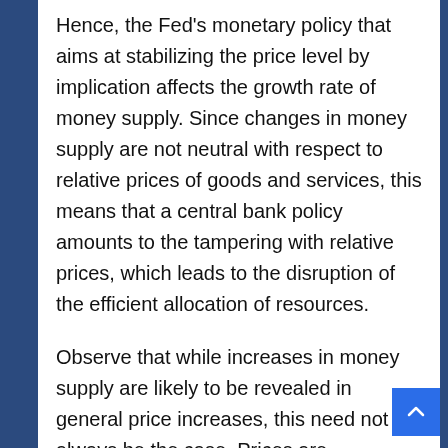Hence, the Fed's monetary policy that aims at stabilizing the price level by implication affects the growth rate of money supply. Since changes in money supply are not neutral with respect to relative prices of goods and services, this means that a central bank policy amounts to the tampering with relative prices, which leads to the disruption of the efficient allocation of resources.
Observe that while increases in money supply are likely to be revealed in general price increases, this need not always be the case. Prices are determined by real and monetary factors.
Consequently, it can occur that if the real